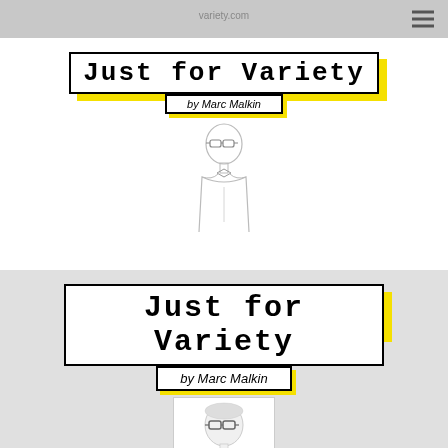variety.com
[Figure (illustration): Navigation bar with hamburger menu icon]
[Figure (logo): Just for Variety by Marc Malkin logo badge with yellow shadow, small version]
[Figure (illustration): Sketch illustration of Marc Malkin, a man with glasses in a suit]
[Figure (logo): Just for Variety by Marc Malkin logo badge with yellow shadow, larger version]
[Figure (photo): Photo of Marc Malkin, a man with glasses, with a house/upward arrow icon below]
IHM
optional screen reader